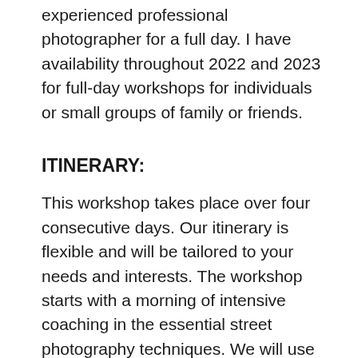experienced professional photographer for a full day. I have availability throughout 2022 and 2023 for full-day workshops for individuals or small groups of family or friends.
ITINERARY:
This workshop takes place over four consecutive days. Our itinerary is flexible and will be tailored to your needs and interests. The workshop starts with a morning of intensive coaching in the essential street photography techniques. We will use some interesting parts of London to practice a variety of styles of street shooting – with a flexible itinerary